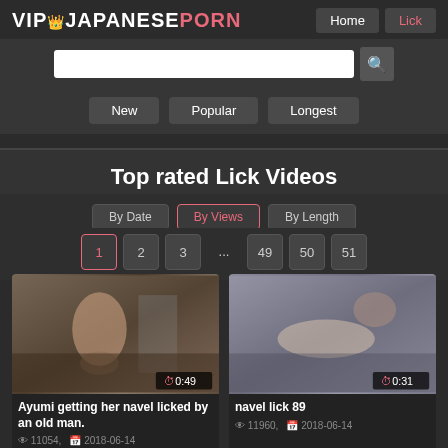VIP JAPANESE PORN — Home | Lick
Top rated Lick Videos
By Date | By Views | By Length
Page navigation: 1 2 3 ... 49 50 51
[Figure (screenshot): Video thumbnail: Ayumi getting her navel licked by an old man. Duration 0:49. Views: 11054. Date: 2018-06-14]
[Figure (screenshot): Video thumbnail: navel lick 89. Duration 0:31. Views: 11960. Date: 2018-06-14]